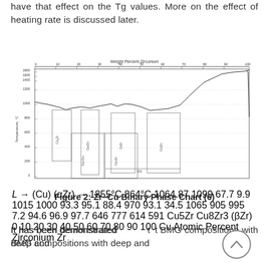have that effect on the Tg values. More on the effect of heating rate is discussed later.
[Figure (engineering-diagram): Zr-Cu Binary Phase Diagram showing weight percent zirconium (top axis, 0-100) and atomic percent zirconium (bottom axis, 0-100) versus temperature in degrees C (y-axis, 0-1800). Shows multiple intermetallic phases including Cu5Zr, Cu8Zr3, CuZr, CuZr2, and various labeled eutectic and peritectic points. Key temperatures labeled include 1855°C, 1064.87, 1099, 1015, 1000, 93.3, 970, 951, 34.5, 1065, 905, 995, 94.6, 96.9, 97.7, 72, 864°C, 614, 777, 614, 646, 591, 316 among others. Liquid (L) region at top. Terminal solid solutions (Cu) and (αZr) at left and right.]
Figure 2: Zr–Cu Binary Phase Chart (6)
It has been demonstrated that BMG compositions with deep and